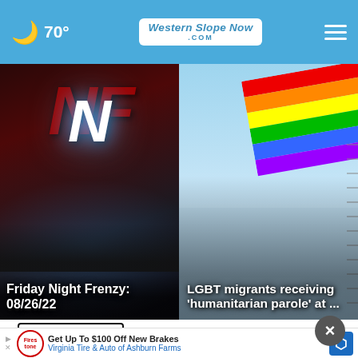🌙 70° | Western Slope Now .com
[Figure (photo): Dark graphic with large red letters 'NF' and a glowing white letter 'N' in the center; concert/event promotional imagery with crowd silhouette at bottom]
Friday Night Frenzy: 08/26/22
[Figure (photo): Rainbow pride flag waving against a partly cloudy sky with barbed wire fence in background]
LGBT migrants receiving 'humanitarian parole' at ...
Top Stories ›
[Figure (photo): Advertisement banner: Get Up To $100 Off New Brakes from Virginia Tire & Auto of Ashburn Farms, with Firestone logo and navigation arrow icon]